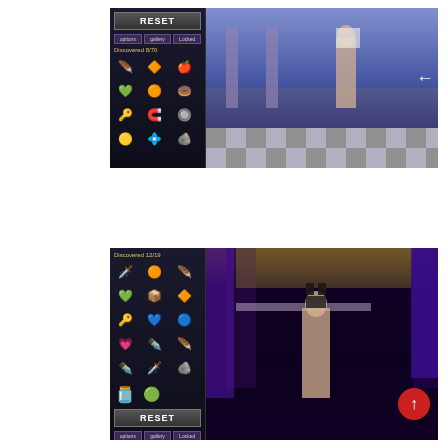[Figure (screenshot): Video game screenshot showing item collection UI panel on left with RESET button, options/gallery/locked tabs, and discovered items grid (8/70). Right side shows 3D character in a classical architecture scene with checkered floor and arrow navigation.]
[Figure (screenshot): Video game screenshot showing item collection UI panel on left with discovered items grid (12/19), RESET button, options/gallery/locked tabs. Right side shows a dark purple environment with columns and a 3D character, plus a red up-arrow button.]